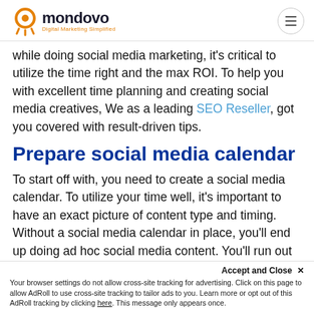mondovo — Digital Marketing Simplified
while doing social media marketing, it's critical to utilize the time right and the max ROI. To help you with excellent time planning and creating social media creatives, We as a leading SEO Reseller, got you covered with result-driven tips.
Prepare social media calendar
To start off with, you need to create a social media calendar. To utilize your time well, it's important to have an exact picture of content type and timing. Without a social media calendar in place, you'll end up doing ad hoc social media content. You'll run out of time to optimize and increase the engagement.
Accept and Close ✕ Your browser settings do not allow cross-site tracking for advertising. Click on this page to allow AdRoll to use cross-site tracking to tailor ads to you. Learn more or opt out of this AdRoll tracking by clicking here. This message only appears once.